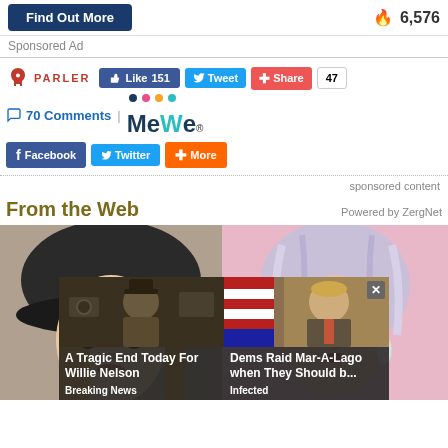[Figure (other): Top bar with Find Out More button (dark blue) on left and fire icon with count 6,576 on right]
Sponsored Ad
[Figure (other): Social sharing bar with Parler logo, Like 151 button (blue), Tweet button (light blue), Share button (red), count 47, 70 Comments link, Facebook button, Twitter button, More button, and MeWe logo]
sponsored content
From the Web
Powered by ZergNet
[Figure (photo): Two portrait photos side by side: left shows a young blonde woman wearing a dark cap; right shows an older woman with silver/lavender hair]
[Figure (other): Overlay news cards: left card shows Willie Nelson with headline 'A Tragic End Today For Willie Nelson' and source 'Breaking News'; right card shows Donald Trump with headline 'Dems Raid Mar-A-Lago when They Should b...' and source 'Infected', with close X button]